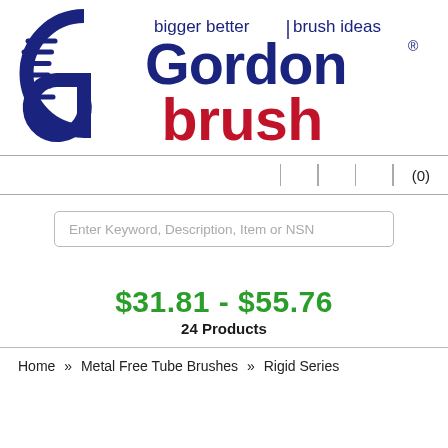[Figure (logo): Gordon Brush logo with tagline 'bigger better brush ideas'. Large blue 'Gordon' text with stylized G, red 'brush' text below, registered trademark symbol.]
(0)
Enter Keyword, Description, Item or NSN
$31.81 - $55.76
24 Products
Home » Metal Free Tube Brushes » Rigid Series